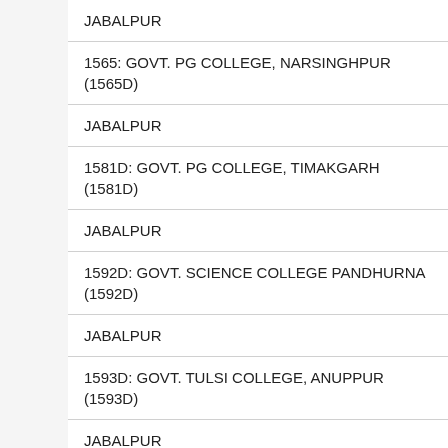JABALPUR
1565: GOVT. PG COLLEGE, NARSINGHPUR (1565D)
JABALPUR
1581D: GOVT. PG COLLEGE, TIMAKGARH (1581D)
JABALPUR
1592D: GOVT. SCIENCE COLLEGE PANDHURNA (1592D)
JABALPUR
1593D: GOVT. TULSI COLLEGE, ANUPPUR (1593D)
JABALPUR
1587: GOVT.PG.COLLEGE, SHAHDOL (1587)
JABALPUR